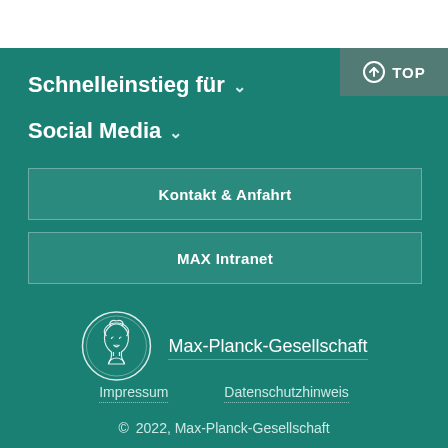Schnelleinstieg für ∨
Social Media ∨
Kontakt & Anfahrt
MAX Intranet
[Figure (logo): Max-Planck-Gesellschaft coin logo with profile of woman]
Max-Planck-Gesellschaft
Impressum
Datenschutzhinweis
© 2022, Max-Planck-Gesellschaft